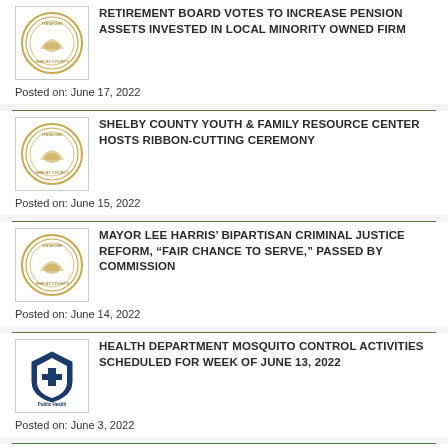RETIREMENT BOARD VOTES TO INCREASE PENSION ASSETS INVESTED IN LOCAL MINORITY OWNED FIRM
Posted on: June 17, 2022
SHELBY COUNTY YOUTH & FAMILY RESOURCE CENTER HOSTS RIBBON-CUTTING CEREMONY
Posted on: June 15, 2022
MAYOR LEE HARRIS’ BIPARTISAN CRIMINAL JUSTICE REFORM, “FAIR CHANCE TO SERVE,” PASSED BY COMMISSION
Posted on: June 14, 2022
HEALTH DEPARTMENT MOSQUITO CONTROL ACTIVITIES SCHEDULED FOR WEEK OF JUNE 13, 2022
Posted on: June 3, 2022
HEALTH DEPARTMENT MOSQUITO